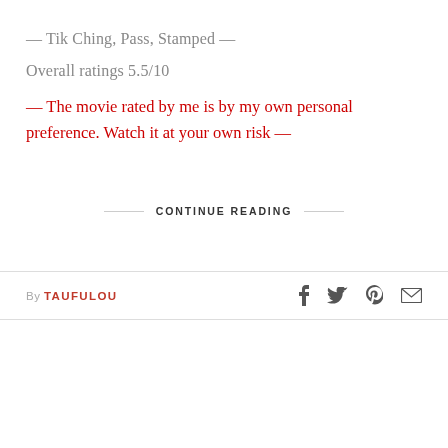— Tik Ching, Pass, Stamped —
Overall ratings 5.5/10
— The movie rated by me is by my own personal preference. Watch it at your own risk —
CONTINUE READING
By TAUFULOU